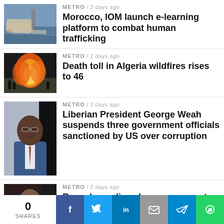[Figure (photo): Boats and debris on a shoreline]
METRO / 2 days ago
Morocco, IOM launch e-learning platform to combat human trafficking
[Figure (photo): Wildfire with flames and smoke, people in foreground]
METRO / 2 days ago
Death toll in Algeria wildfires rises to 46
[Figure (photo): Portrait of Liberian President George Weah]
METRO / 2 days ago
Liberian President George Weah suspends three government officials sanctioned by US over corruption
[Figure (photo): Woman at an event]
METRO / 2 days ago
Rwandan police charges woman to court for 'indecent dressing'
0 SHARES